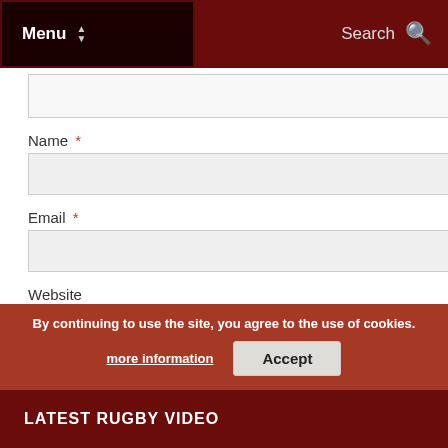Menu | Search
Name *
Email *
Website
CAPTCHA *
7 × eight =
Post Comment
Notify me of follow-up comments by email.
Notify me of new posts by email.
By continuing to use the site, you agree to the use of cookies. more information | Accept
LATEST RUGBY VIDEO